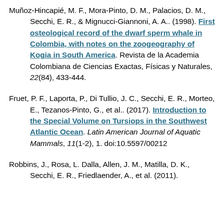Muñoz-Hincapié, M. F., Mora-Pinto, D. M., Palacios, D. M., Secchi, E. R., & Mignucci-Giannoni, A. A.. (1998). First osteological record of the dwarf sperm whale in Colombia, with notes on the zoogeography of Kogia in South America. Revista de la Academia Colombiana de Ciencias Exactas, Físicas y Naturales, 22(84), 433-444.
Fruet, P. F., Laporta, P., Di Tullio, J. C., Secchi, E. R., Morteo, E., Tezanos-Pinto, G., et al.. (2017). Introduction to the Special Volume on Tursiops in the Southwest Atlantic Ocean. Latin American Journal of Aquatic Mammals, 11(1-2), 1. doi:10.5597/00212
Robbins, J., Rosa, L. Dalla, Allen, J. M., Matilla, D. K., Secchi, E. R., Friedlaender, A., et al. (2011).